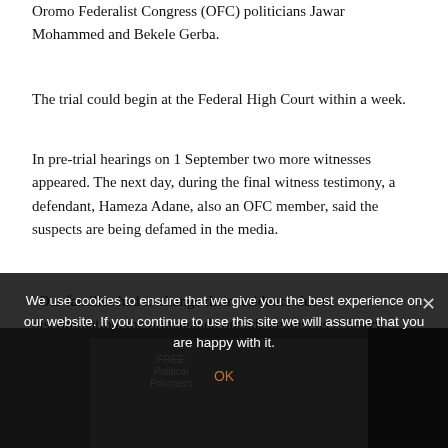Oromo Federalist Congress (OFC) politicians Jawar Mohammed and Bekele Gerba.
The trial could begin at the Federal High Court within a week.
In pre-trial hearings on 1 September two more witnesses appeared. The next day, during the final witness testimony, a defendant, Hameza Adane, also an OFC member, said the suspects are being defamed in the media.
“Our families had to change their residence due to discrimination, the propaganda outside against us is heavy. Even though we did no such thing, the state has brought a witness who told myself and Bekele gave order which resulted the death of 160 people.  We are being defamed with a crime we didn’t commit and I’ve asked the court before to give order for the discontinuance of such defamations,” he said.
We use cookies to ensure that we give you the best experience on our website. If you continue to use this site we will assume that you are happy with it.
[Figure (photo): Partial photo visible at the bottom of the page behind the cookie consent overlay, showing protest signage.]